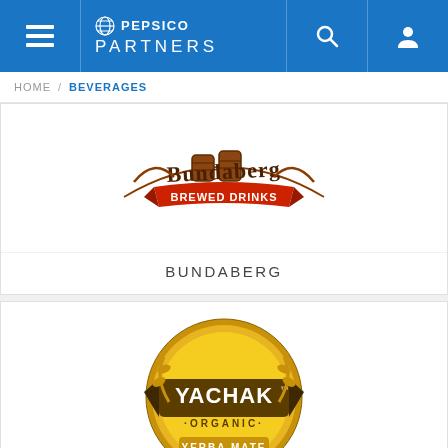PEPSICO PARTNERS
HOME / BEVERAGES
[Figure (logo): Bundaberg Brewed Drinks logo - ornate vintage style with barrels and script lettering]
BUNDABERG
[Figure (logo): Yachak Organic Yerba Mate logo - circular badge with yellow background, brown banner, wheat motifs]